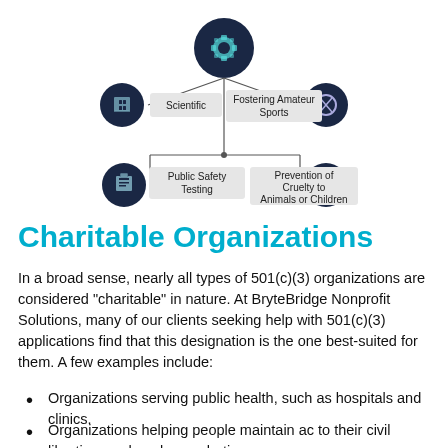[Figure (flowchart): Diagram showing 501(c)(3) category nodes: center gear icon connected to Scientific (left, with building icon), Fostering Amateur Sports (right, with sports icon), Public Safety Testing (bottom-left, with clipboard icon), Prevention of Cruelty to Animals or Children (bottom-right, with leaf icon). Connected with lines from a central dark circle with gear icon.]
Charitable Organizations
In a broad sense, nearly all types of 501(c)(3) organizations are considered “charitable” in nature. At BryteBridge Nonprofit Solutions, many of our clients seeking help with 501(c)(3) applications find that this designation is the one best-suited for them. A few examples include:
Organizations serving public health, such as hospitals and clinics.
Organizations helping people maintain access to their civil liberties, such as by combating